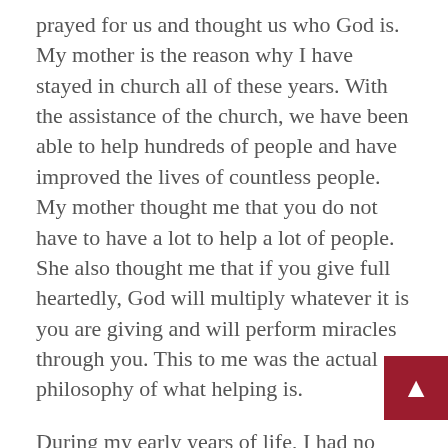prayed for us and thought us who God is. My mother is the reason why I have stayed in church all of these years. With the assistance of the church, we have been able to help hundreds of people and have improved the lives of countless people. My mother thought me that you do not have to have a lot to help a lot of people. She also thought me that if you give full heartedly, God will multiply whatever it is you are giving and will perform miracles through you. This to me was the actual philosophy of what helping is.
During my early years of life, I had no interest in social work, nor was I aware to what social workers did. I did not pick social work, but social work did pick me. During my college years, I had no intentions of studying social worker. I wanted to be a lawyer and did pre-law for undergrad. After graduating from college, I got a job working for a social security disability firm, helping individuals that were to work to obtain their social security disability bene